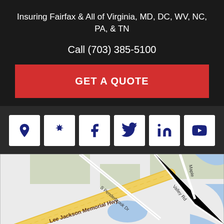Insuring Fairfax & All of Virginia, MD, DC, WV, NC, PA, & TN
Call (703) 385-5100
GET A QUOTE
[Figure (infographic): Row of 6 social media icon buttons: Google Maps pin, Yelp star, Facebook, Twitter, LinkedIn, YouTube — white square buttons with dark navy icons]
[Figure (map): Google Maps screenshot showing area around Lee Jackson Memorial Hwy, S Penderbrook Dr, Fair Oaks Mall, Valley Rd, Maple road]